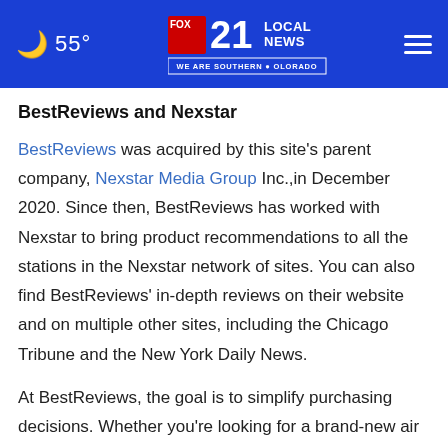🌙 55° | FOX 21 LOCAL NEWS WE ARE SOUTHERN COLORADO | ☰
BestReviews and Nexstar
BestReviews was acquired by this site's parent company, Nexstar Media Group Inc.,in December 2020. Since then, BestReviews has worked with Nexstar to bring product recommendations to all the stations in the Nexstar network of sites. You can also find BestReviews' in-depth reviews on their website and on multiple other sites, including the Chicago Tribune and the New York Daily News.
At BestReviews, the goal is to simplify purchasing decisions. Whether you're looking for a brand-new air